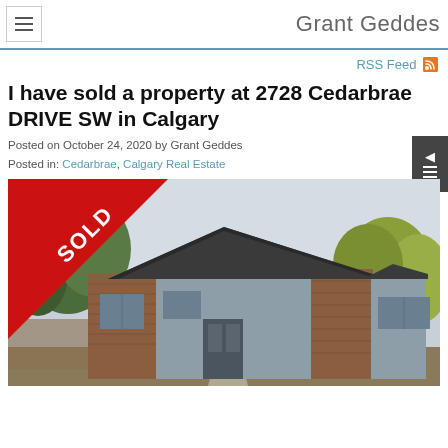Grant Geddes
RSS Feed
I have sold a property at 2728 Cedarbrae DRIVE SW in Calgary
Posted on October 24, 2020 by Grant Geddes
Posted in: Cedarbrae, Calgary Real Estate
[Figure (photo): Photo of a sold house at 2728 Cedarbrae DRIVE SW in Calgary with a red SOLD diagonal banner across the top-left corner. The house is a single-storey bungalow with grey siding, brick accents, and a dark roof, surrounded by trees.]